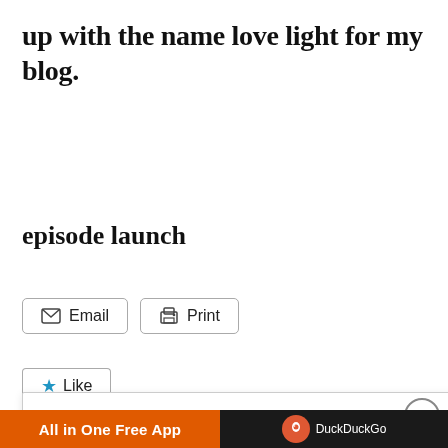up with the name love light for my blog.
episode launch
Email   Print
Like
Privacy & Cookies: This site uses cookies. By continuing to use this website, you agree to their use.
To find out more, including how t see here: Cookie Policy
Close and accept
All in One Free App
DuckDuckGo